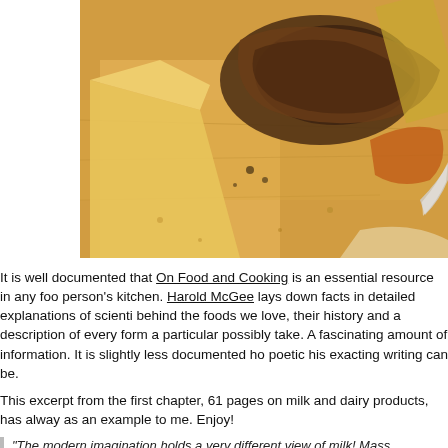[Figure (photo): Close-up food photo showing sliced bread, cheese and other food items on a wooden cutting board]
It is well documented that On Food and Cooking is an essential resource in any food person's kitchen. Harold McGee lays down facts in detailed explanations of scientific behind the foods we love, their history and a description of every form a particular possibly take. A fascinating amount of information. It is slightly less documented ho poetic his exacting writing can be.
This excerpt from the first chapter, 61 pages on milk and dairy products, has alway as an example to me. Enjoy!
“The modern imagination holds a very different view of milk! Mass production turned it and its products from precious, marvelous resources into ordinary